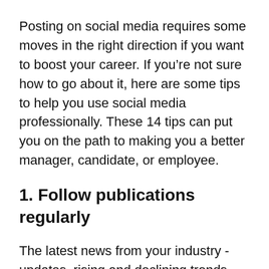Posting on social media requires some moves in the right direction if you want to boost your career. If you're not sure how to go about it, here are some tips to help you use social media professionally. These 14 tips can put you on the path to making you a better manager, candidate, or employee.
1. Follow publications regularly
The latest news from your industry - updates, rising and declining trends - will reach you easily on social media. Once you “like” their